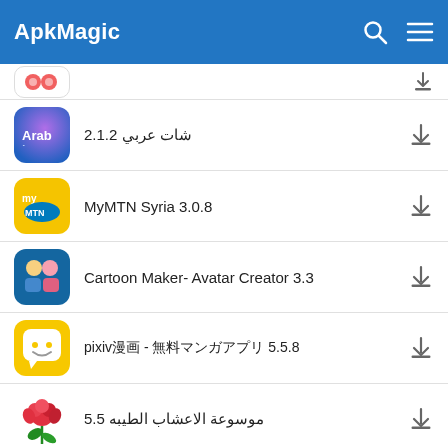ApkMagic
شات عربي 2.1.2
MyMTN Syria 3.0.8
Cartoon Maker- Avatar Creator 3.3
pixiv漫画 - 無料マンガアプリ 5.5.8
موسوعة الاعشاب الطيبه 5.5
LifeCoin - Rewards for Walking & Step Counting